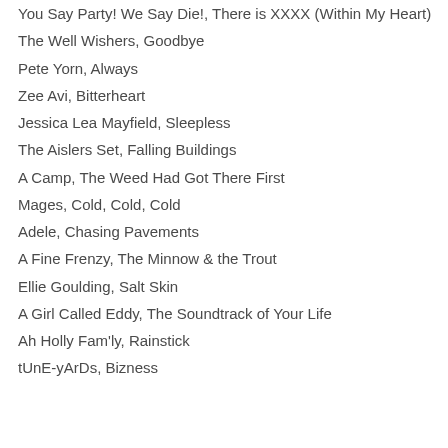You Say Party! We Say Die!, There is XXXX (Within My Heart)
The Well Wishers, Goodbye
Pete Yorn, Always
Zee Avi, Bitterheart
Jessica Lea Mayfield, Sleepless
The Aislers Set, Falling Buildings
A Camp, The Weed Had Got There First
Mages, Cold, Cold, Cold
Adele, Chasing Pavements
A Fine Frenzy, The Minnow & the Trout
Ellie Goulding, Salt Skin
A Girl Called Eddy, The Soundtrack of Your Life
Ah Holly Fam'ly, Rainstick
tUnE-yArDs, Bizness